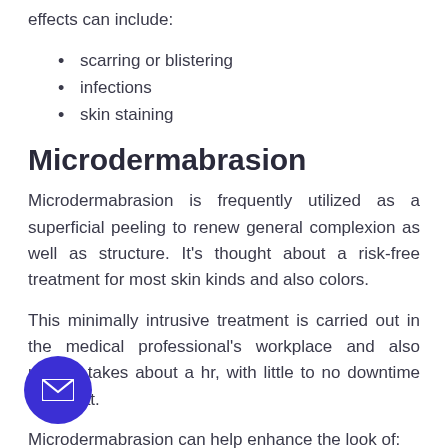effects can include:
scarring or blistering
infections
skin staining
Microdermabrasion
Microdermabrasion is frequently utilized as a superficial peeling to renew general complexion as well as structure. It's thought about a risk-free treatment for most skin kinds and also colors.
This minimally intrusive treatment is carried out in the medical professional's workplace and also usually takes about a hr, with little to no downtime after that.
Microdermabrasion can help enhance the look of: